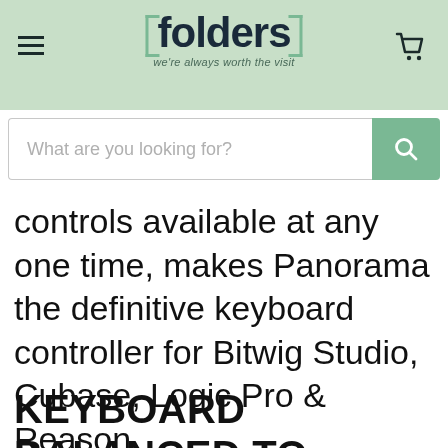folders — we're always worth the visit
What are you looking for?
controls available at any one time, makes Panorama the definitive keyboard controller for Bitwig Studio, Cubase, Logic Pro & Reason.
KEYBOARD BALANCED TO PERFECTION